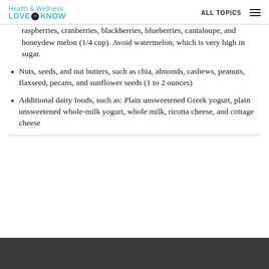Health & Wellness LOVE to KNOW — ALL TOPICS
raspberries, cranberries, blackberries, blueberries, cantaloupe, and honeydew melon (1/4 cup). Avoid watermelon, which is very high in sugar.
Nuts, seeds, and nut butters, such as chia, almonds, cashews, peanuts, flaxseed, pecans, and sunflower seeds (1 to 2 ounces)
Additional dairy foods, such as: Plain unsweetened Greek yogurt, plain unsweetened whole-milk yogurt, whole milk, ricotta cheese, and cottage cheese